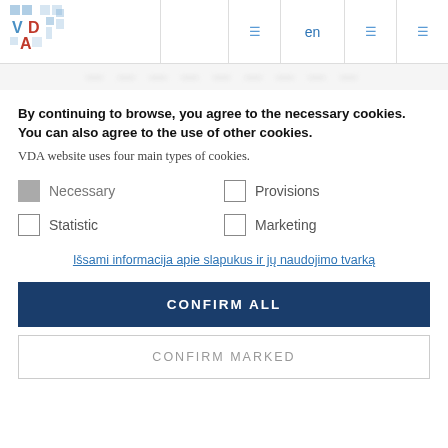[Figure (logo): VDA logo with stylized letters V, D, A in blue and red with decorative figures]
By continuing to browse, you agree to the necessary cookies. You can also agree to the use of other cookies.
VDA website uses four main types of cookies.
Necessary
Provisions
Statistic
Marketing
Išsami informacija apie slapukus ir jų naudojimo tvarką
CONFIRM ALL
CONFIRM MARKED